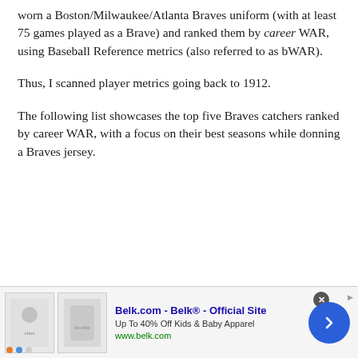worn a Boston/Milwaukee/Atlanta Braves uniform (with at least 75 games played as a Brave) and ranked them by career WAR, using Baseball Reference metrics (also referred to as bWAR).
Thus, I scanned player metrics going back to 1912.
The following list showcases the top five Braves catchers ranked by career WAR, with a focus on their best seasons while donning a Braves jersey.
[Figure (other): Advertisement banner for Belk.com showing children's apparel images, text 'Belk.com - Belk® - Official Site', 'Up To 40% Off Kids & Baby Apparel', 'www.belk.com', with a blue arrow button and close button]